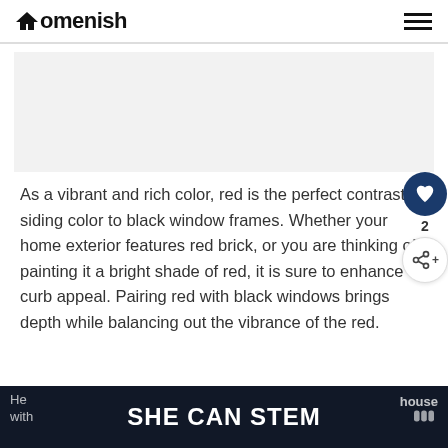Homenish
[Figure (photo): Light gray placeholder image area representing a home exterior photo]
As a vibrant and rich color, red is the perfect contrasting siding color to black window frames. Whether your home exterior features red brick, or you are thinking of painting it a bright shade of red, it is sure to enhance curb appeal. Pairing red with black windows brings depth while balancing out the vibrance of the red.
SHE CAN STEM